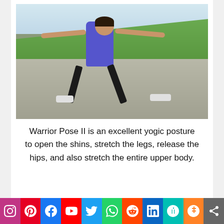[Figure (photo): Woman performing Warrior Pose II (Virabhadrasana II) yoga pose outdoors on a rooftop patio. She wears a blue tank top and black capri pants with white sneakers, arms outstretched, lunging to the side. Background shows green grass, trees, and sky.]
Warrior Pose II is an excellent yogic posture to open the shins, stretch the legs, release the hips, and also stretch the entire upper body.
[Figure (infographic): Social media share bar with icons: Instagram, Pinterest, Facebook, YouTube, Twitter, WhatsApp, Reddit, LinkedIn, MeWe, Mix, Share]